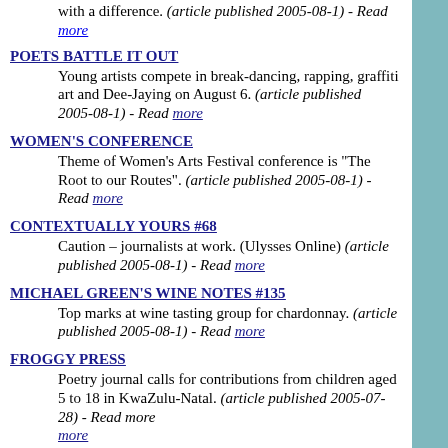with a difference. (article published 2005-08-1) - Read more
POETS BATTLE IT OUT - Young artists compete in break-dancing, rapping, graffiti art and Dee-Jaying on August 6. (article published 2005-08-1) - Read more
WOMEN'S CONFERENCE - Theme of Women's Arts Festival conference is "The Root to our Routes". (article published 2005-08-1) - Read more
CONTEXTUALLY YOURS #68 - Caution – journalists at work. (Ulysses Online) (article published 2005-08-1) - Read more
MICHAEL GREEN'S WINE NOTES #135 - Top marks at wine tasting group for chardonnay. (article published 2005-08-1) - Read more
FROGGY PRESS - Poetry journal calls for contributions from children aged 5 to 18 in KwaZulu-Natal. (article published 2005-07-28) - Read more